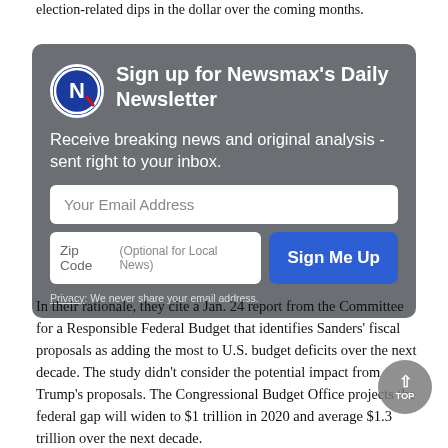election-related dips in the dollar over the coming months.
[Figure (infographic): Newsmax newsletter signup box with logo, title 'Sign up for Newsmax's Daily Newsletter', description text, email input, zip code input, and Sign Me Up button]
In their rationale, they cite a Jan. 24 report from the Committee for a Responsible Federal Budget that identifies Sanders' fiscal proposals as adding the most to U.S. budget deficits over the next decade. The study didn't consider the potential impact from Trump's proposals. The Congressional Budget Office projects the federal gap will widen to $1 trillion in 2020 and average $1.3 trillion over the next decade.